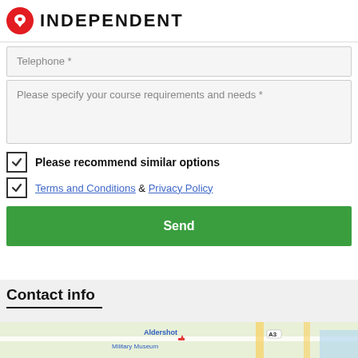INDEPENDENT
Telephone *
Please specify your course requirements and needs *
Please recommend similar options
Terms and Conditions & Privacy Policy
Send
Contact info
[Figure (map): Street map showing Aldershot Military Museum area with road A3 visible]